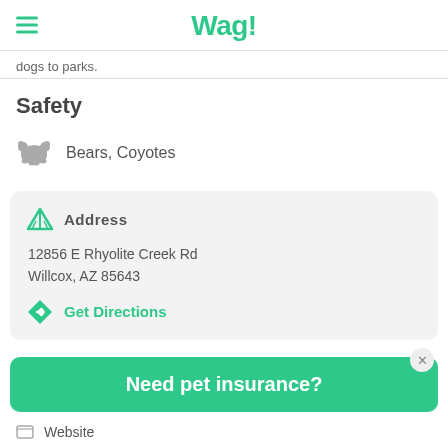Wag!
dogs to parks.
Safety
Bears, Coyotes
Address
12856 E Rhyolite Creek Rd
Willcox, AZ 85643
Get Directions
Need pet insurance?
Website